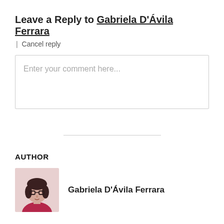Leave a Reply to Gabriela D'Ávila Ferrara
| Cancel reply
Enter your comment here...
AUTHOR
[Figure (photo): Author photo of Gabriela D'Ávila Ferrara, a woman with glasses and dark hair wearing a red/magenta top]
Gabriela D'Ávila Ferrara